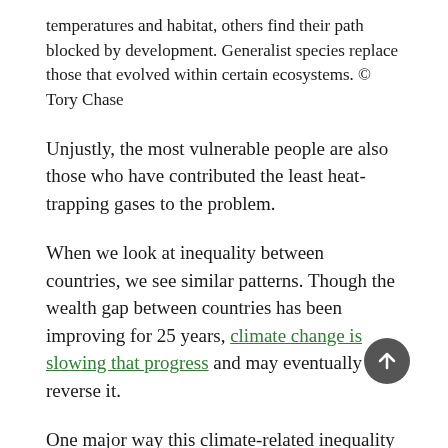temperatures and habitat, others find their path blocked by development. Generalist species replace those that evolved within certain ecosystems. © Tory Chase
Unjustly, the most vulnerable people are also those who have contributed the least heat-trapping gases to the problem.
When we look at inequality between countries, we see similar patterns. Though the wealth gap between countries has been improving for 25 years, climate change is slowing that progress and may eventually reverse it.
One major way this climate-related inequality is playing out involves rising temperatures and